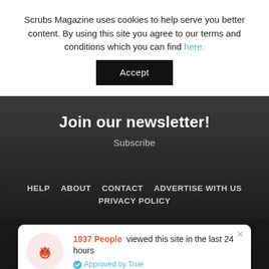Scrubs Magazine uses cookies to help serve you better content. By using this site you agree to our terms and conditions which you can find here.
Accept
Join our newsletter!
Subscribe
HELP   ABOUT   CONTACT   ADVERTISE WITH US   PRIVACY POLICY
1937 People viewed this site in the last 24 hours Approved by True